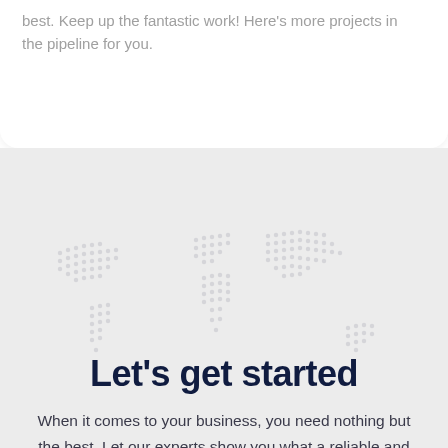best. Keep up the fantastic work! Here's more projects in the pipeline for you.
[Figure (illustration): Dotted world map illustration used as background graphic in the lower section]
Let's get started
When it comes to your business, you need nothing but the best. Let our experts show you what a reliable and classy partner looks like.
Dreamers, Start Here